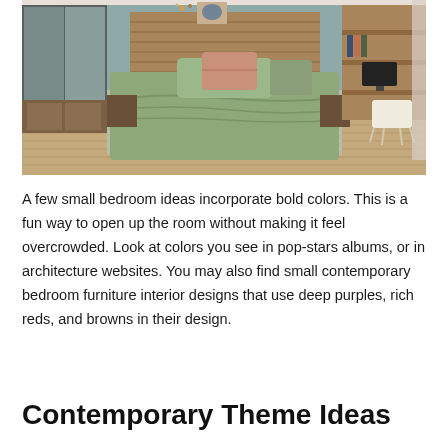[Figure (photo): A modern small bedroom interior with a bed featuring sage green bedding and a pink decorative pillow, wooden headboard, two nightstands, a wardrobe with sliding mirror doors on the left, a wooden desk with a monitor and white chair on the right, light wood flooring with a striped rug, and muted blue-gray walls.]
A few small bedroom ideas incorporate bold colors. This is a fun way to open up the room without making it feel overcrowded. Look at colors you see in pop-stars albums, or in architecture websites. You may also find small contemporary bedroom furniture interior designs that use deep purples, rich reds, and browns in their design.
Contemporary Theme Ideas